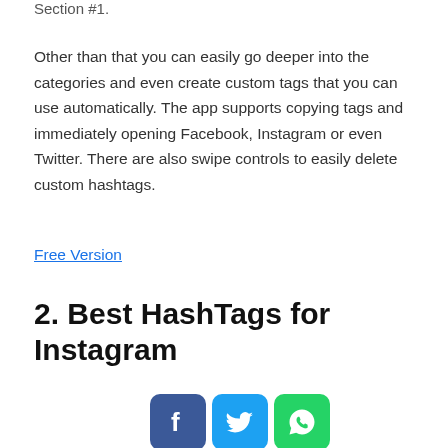Section #1.
Other than that you can easily go deeper into the categories and even create custom tags that you can  use automatically. The app supports copying tags and immediately opening Facebook, Instagram or even Twitter. There are also swipe controls to easily delete custom hashtags.
Free Version
2. Best HashTags for Instagram
[Figure (illustration): Three social media share buttons: Facebook (blue), Twitter (light blue), WhatsApp (green)]